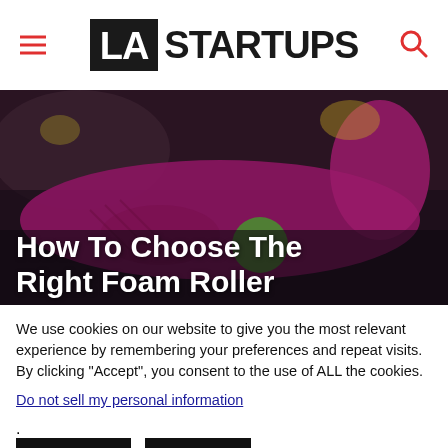LA STARTUPS
[Figure (photo): Person in pink/magenta workout clothes using a foam roller in a gym setting]
How To Choose The Right Foam Roller
We use cookies on our website to give you the most relevant experience by remembering your preferences and repeat visits. By clicking “Accept”, you consent to the use of ALL the cookies.
Do not sell my personal information.
Settings  Accept